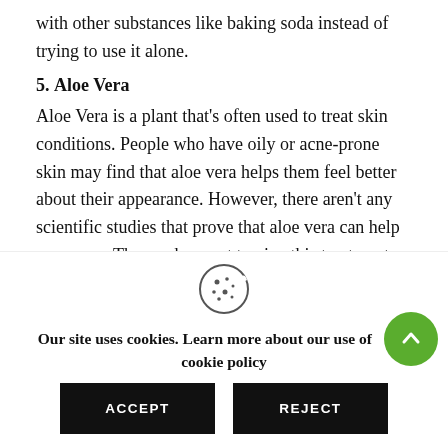with other substances like baking soda instead of trying to use it alone.
5. Aloe Vera
Aloe Vera is a plant that's often used to treat skin conditions. People who have oily or acne-prone skin may find that aloe vera helps them feel better about their appearance. However, there aren't any scientific studies that prove that aloe vera can help cure acne. Those who want to give this treatment a try should apply it directly to their face two times per day for at least two weeks
Our site uses cookies. Learn more about our use of cookies: cookie policy
ACCEPT
REJECT